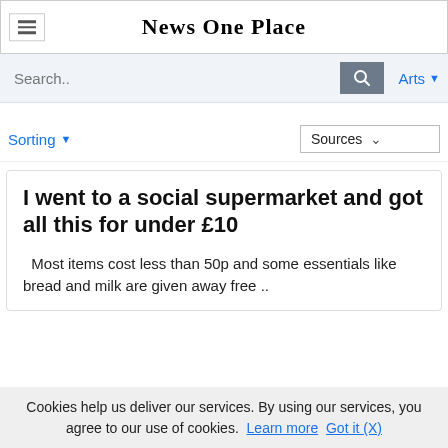News One Place
Search..
Arts
Sorting
Sources
I went to a social supermarket and got all this for under £10
Most items cost less than 50p and some essentials like bread and milk are given away free ..
Cookies help us deliver our services. By using our services, you agree to our use of cookies. Learn more  Got it (X)